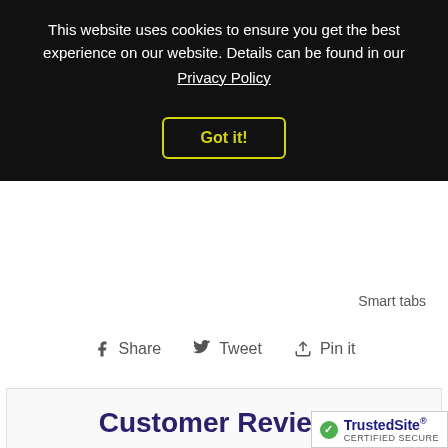This website uses cookies to ensure you get the best experience on our website. Details can be found in our Privacy Policy
Got it!
Smart tabs
Share  Tweet  Pin it
Customer Reviews
Be the first to write a review
Write a review
TrustedSite CERTIFIED SECURE